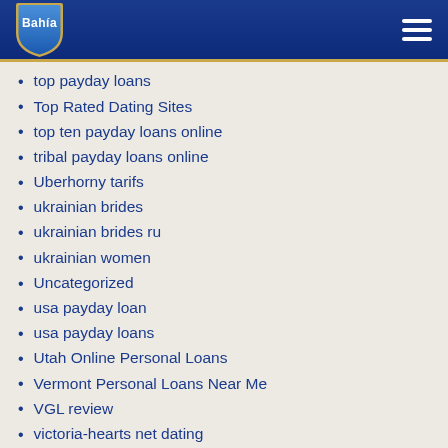Bahía
top payday loans
Top Rated Dating Sites
top ten payday loans online
tribal payday loans online
Uberhorny tarifs
ukrainian brides
ukrainian brides ru
ukrainian women
Uncategorized
usa payday loan
usa payday loans
Utah Online Personal Loans
Vermont Personal Loans Near Me
VGL review
victoria-hearts net dating
vietnamcupid review
wamba sign in